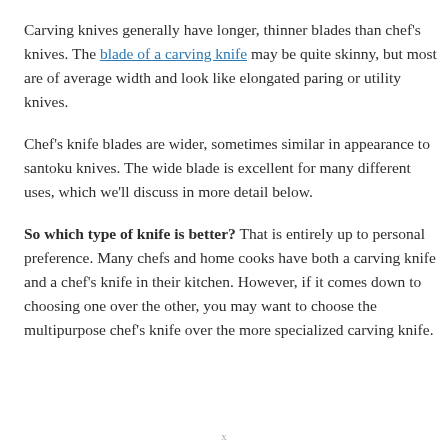Carving knives generally have longer, thinner blades than chef's knives. The blade of a carving knife may be quite skinny, but most are of average width and look like elongated paring or utility knives.
Chef's knife blades are wider, sometimes similar in appearance to santoku knives. The wide blade is excellent for many different uses, which we'll discuss in more detail below.
So which type of knife is better? That is entirely up to personal preference. Many chefs and home cooks have both a carving knife and a chef's knife in their kitchen. However, if it comes down to choosing one over the other, you may want to choose the multipurpose chef's knife over the more specialized carving knife.
x